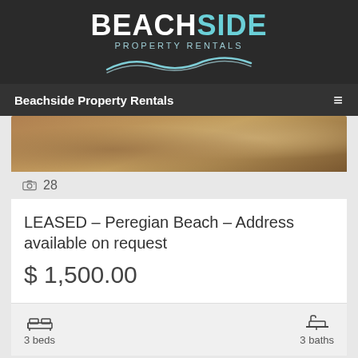[Figure (logo): Beachside Property Rentals logo with wave graphic on dark background]
Beachside Property Rentals
[Figure (photo): Interior photo showing brown leather sofa/couch]
28
LEASED – Peregian Beach – Address available on request
$ 1,500.00
3 beds
3 baths